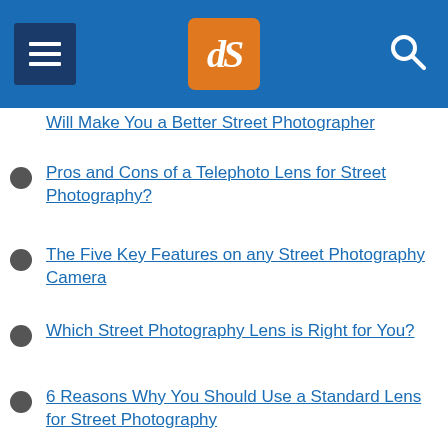dPS navigation header
Will Make You a Better Street Photographer
Pros and Cons of a Telephoto Lens for Street Photography?
The Five Key Features on any Street Photography Camera
Which Street Photography Lens is Right for You?
6 Reasons Why You Should Use a Standard Lens for Street Photography
A Look at the Fujifilm X100V in Action for Street Photography (video)